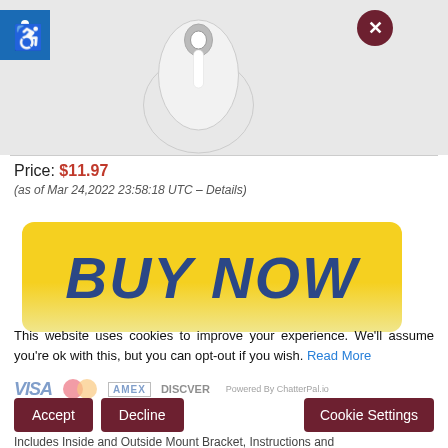[Figure (photo): Top-down view of a white computer mouse product photo on light gray background, with an accessibility icon (blue square with wheelchair symbol) in the top-left corner and a dark red close/X button in the upper right area]
Price: $11.97
(as of Mar 24, 2022 23:58:18 UTC – Details)
[Figure (other): Yellow gradient BUY NOW button with bold dark blue italic text]
This website uses cookies to improve your experience. We'll assume you're ok with this, but you can opt-out if you wish. Read More
Powered By ChatterPal.io
Accept   Decline   Cookie Settings
Includes Inside and Outside Mount Bracket, Instructions and